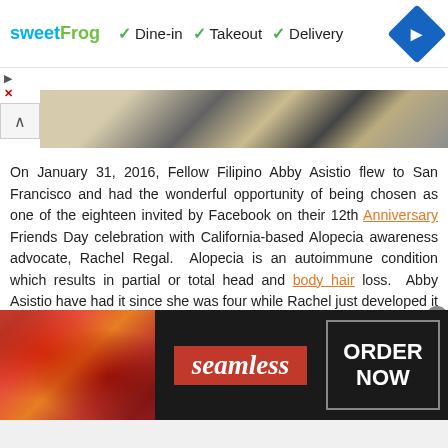[Figure (screenshot): SweetFrog advertisement banner showing Dine-in, Takeout, Delivery options with checkmarks and navigation icon]
[Figure (photo): Partial photo strip showing textured pattern, partially collapsed]
On January 31, 2016, Fellow Filipino Abby Asistio flew to San Francisco and had the wonderful opportunity of being chosen as one of the eighteen invited by Facebook on their 12th Anniversary Friends Day celebration with California-based Alopecia awareness advocate, Rachel Regal. Alopecia is an autoimmune condition which results in partial or total head and body hair loss. Abby Asistio have had it since she was four while Rachel just developed it sometime in 2012, the same year she discovered that her 10-year-old daughter, Eliana, had it, too. Six inspiring stories were picked by Facebook among its 1.64 billion users and Abby's friends were all amazed when they've
[Figure (screenshot): Seamless food delivery advertisement banner with pizza image, seamless logo, and ORDER NOW button]